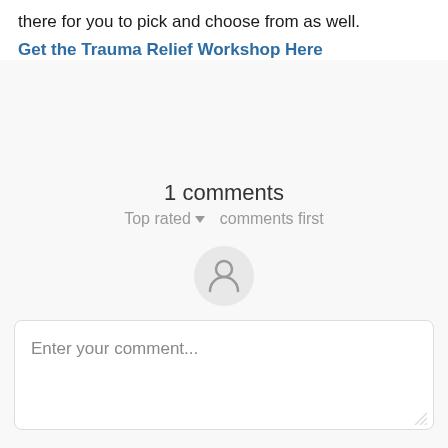there for you to pick and choose from as well.
Get the Trauma Relief Workshop Here
1 comments
Top rated ▼  comments first
[Figure (illustration): User avatar placeholder icon — a person silhouette inside a light gray circle]
Enter your comment...